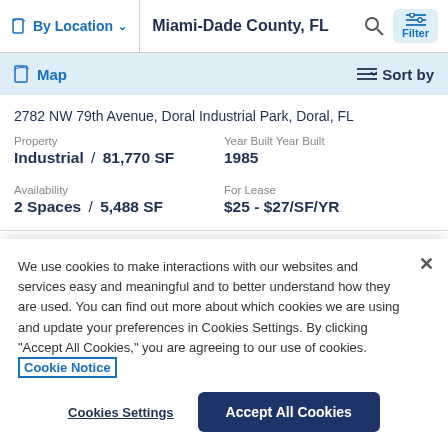By Location | Miami-Dade County, FL
Map | Sort by
2782 NW 79th Avenue, Doral Industrial Park, Doral, FL
Property: Industrial / 81,770 SF | Year Built Year Built: 1985
Availability: 2 Spaces / 5,488 SF | For Lease: $25 - $27/SF/YR
We use cookies to make interactions with our websites and services easy and meaningful and to better understand how they are used. You can find out more about which cookies we are using and update your preferences in Cookies Settings. By clicking "Accept All Cookies," you are agreeing to our use of cookies. Cookie Notice
Cookies Settings | Accept All Cookies